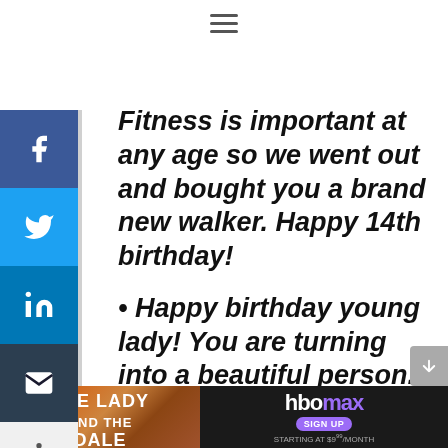≡
Fitness is important at any age so we went out and bought you a brand new walker. Happy 14th birthday!
• Happy birthday young lady! You are turning into a beautiful person.
• Happy Birthday to the girl who is hip, cool, a little wild and crazy, and (I think) turning into a
[Figure (screenshot): HBO Max advertisement banner: 'The Lady and the Dale' HBO Original, sign up starting at $9.99/month]